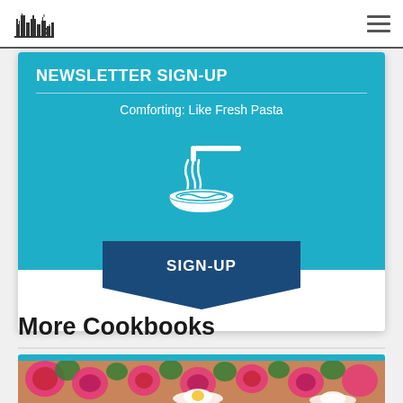[Figure (logo): Cityscape/skyline logo with buildings silhouette]
NEWSLETTER SIGN-UP
Comforting: Like Fresh Pasta
[Figure (illustration): White pasta/spaghetti in a bowl with fork icon on teal background]
SIGN-UP
More Cookbooks
[Figure (photo): Colorful food photo showing floral pattern dish with eggs and other food items]